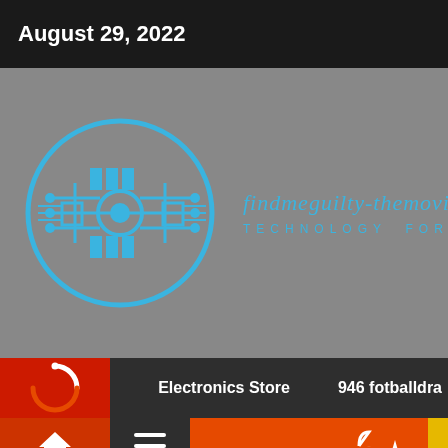August 29, 2022
[Figure (logo): findmeguilty-themovie logo: circular circuit board icon in blue on grey background, with text 'findmeguilty-themovie' in blue cursive/italic and 'TECHNOLOGY FOREVER' in blue spaced caps below]
Electronics Store   946 fotballdra
[Figure (screenshot): Navigation bar with home icon, hamburger menu, and up-arrow button on orange/red background]